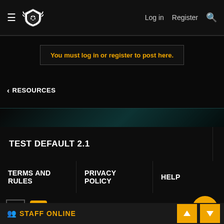Log in  Register
You must log in or register to post here.
< RESOURCES
[Figure (screenshot): Teal decorative banner strip]
TEST DEFAULT 2.1
TERMS AND RULES  PRIVACY POLICY  HELP
[Figure (illustration): Up arrow icon, RSS feed icon, Discord circular button in gold/orange]
[Figure (illustration): Staff Online section header with group icon]
[Figure (illustration): Scroll up and scroll down navigation buttons in gold/orange]